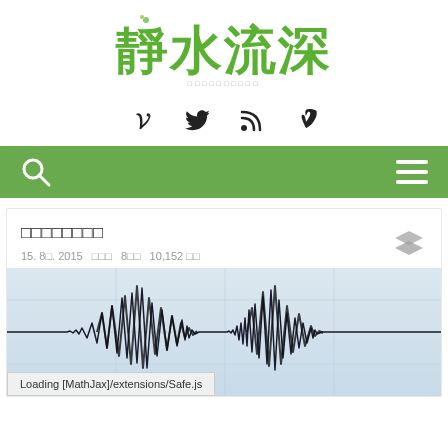[Figure (logo): Chinese calligraphy-style green logo reading 靜水流深 with subtitle text below]
[Figure (infographic): Social media icons: Twitter bird, RSS feed, Vimeo V]
Navigation bar with search icon and hamburger menu on green background
□□□□□□□□
15. 8□. 2015  □□□  8□□  10,152 □□
[Figure (photo): Seismograph waveform image showing earthquake activity on light blue/grey background]
Loading [MathJax]/extensions/Safe.js